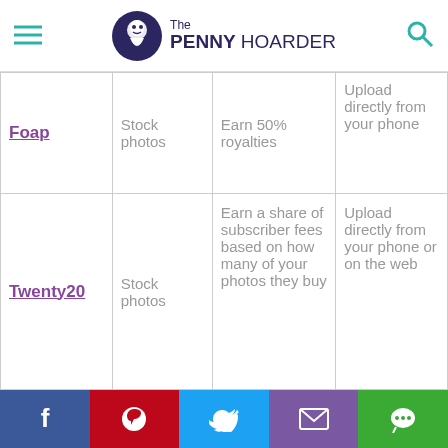The PENNY HOARDER
|  | Type | Earnings | How to upload |
| --- | --- | --- | --- |
| Foap | Stock photos | Earn 50% royalties | Upload directly from your phone |
| Twenty20 | Stock photos | Earn a share of subscriber fees based on how many of your photos they buy | Upload directly from your phone or on the web |
|  |  |  | Set your... |